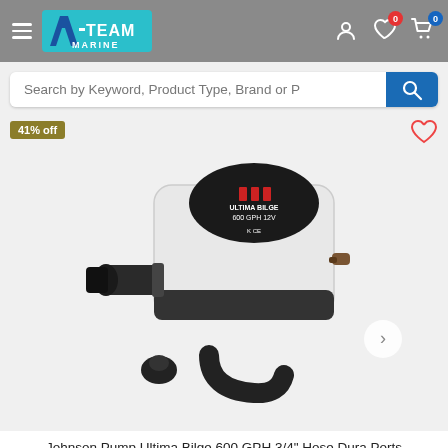A-Team Marine navigation header with hamburger menu, logo, search, user icon, wishlist (0), cart (0)
Search by Keyword, Product Type, Brand or P
[Figure (photo): White Johnson Pump Ultima Bilge 600 GPH bilge pump with black fittings and accessory hose pieces on grey background. Discount badge showing 41% off in upper left.]
Johnson Pump Ultima Bilge 600 GPH 3/4" Hose Dura Ports [32.47258.003]